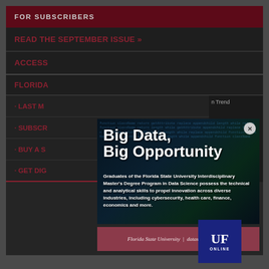FOR SUBSCRIBERS
READ THE SEPTEMBER ISSUE »
ACCESS
FLORIDA
· LAST M
· SUBSCR
· BUY A S
· GET DIG
[Figure (illustration): Advertisement overlay for Florida State University Data Science program. Background shows code/programming text on dark screen. Large bold white text reads 'Big Data, Big Opportunity'. Body text describes the FSU Interdisciplinary Master's Degree Program in Data Science. Close button (X) in upper right. Footer bar reads 'Florida State University | datascience.fsu.edu' in mauve/pink background.]
[Figure (logo): UF ONLINE logo — dark navy blue square with 'UF' in large white serif letters and 'ONLINE' below in small white capital letters.]